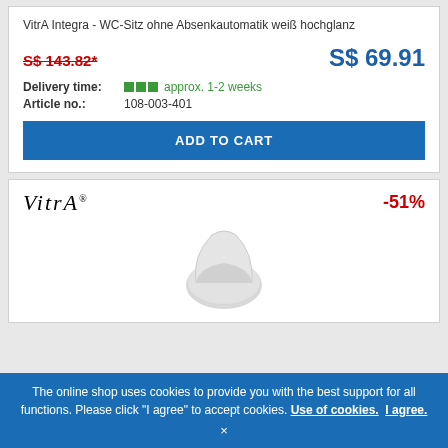VitrA Integra - WC-Sitz ohne Absenkautomatik weiß hochglanz
S$ 143.82*  S$ 69.91
Delivery time: approx. 1-2 weeks
Article no.: 108-003-401
ADD TO CART
[Figure (logo): VitrA brand logo in italic serif font]
-51%
[Figure (photo): Partial image of a white toilet seat/lid product]
The online shop uses cookies to provide you with the best support for all functions. Please click "I agree" to accept cookies. Use of cookies. I agree.